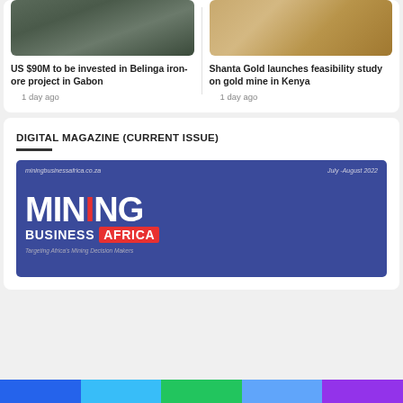[Figure (photo): Aerial view of a dark terrain, possibly a mining or industrial site with gray/brown coloring]
US $90M to be invested in Belinga iron-ore project in Gabon
1 day ago
[Figure (photo): Aerial view of an open-pit mine with sandy/golden terraced walls]
Shanta Gold launches feasibility study on gold mine in Kenya
1 day ago
DIGITAL MAGAZINE (CURRENT ISSUE)
[Figure (logo): Mining Business Africa magazine cover - July-August 2022 edition on blue background with white MINING text, red and white BUSINESS AFRICA logo, and tagline 'Targeting Africa's Mining Decision Makers']